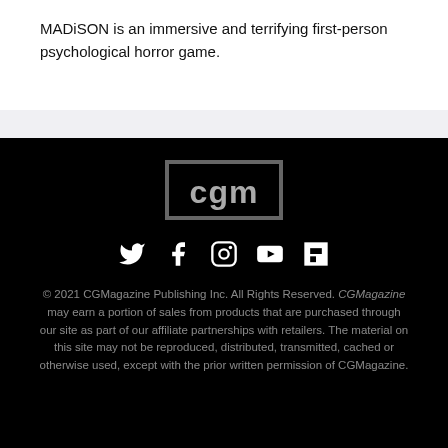MADiSON is an immersive and terrifying first-person psychological horror game.
[Figure (logo): CGM magazine logo — letters 'cgm' in white inside a dark grey rectangle border]
[Figure (infographic): Social media icons row: Twitter, Facebook, Instagram, YouTube, Flipboard — all white on black background]
© 2021 CGMagazine Publishing Inc. All Rights Reserved. CGMagazine may earn a portion of sales from products that are purchased through our site as part of our affiliate partnerships with retailers. The material on this site may not be reproduced, distributed, transmitted, cached or otherwise used, except with the prior written permission of CGMagazine.